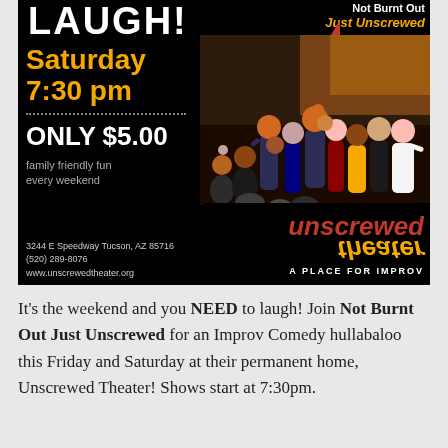[Figure (infographic): Promotional advertisement for Not Burnt Out Just Unscrewed improv comedy show at Unscrewed Theater. Black background with orange and white text. Shows 'LAUGH!' at top, 'Saturday 7:30 pm', 'ONLY $5.00', 'family friendly fun every weekend', address 3244 E Speedway Tucson, AZ 85716, phone (520) 289-8076, website www.unscrewedtheater.org, and the Unscrewed Theater logo with 'A Place for Improv'. Group photo of performers on the right side.]
It’s the weekend and you NEED to laugh! Join Not Burnt Out Just Unscrewed for an Improv Comedy hullabaloo this Friday and Saturday at their permanent home, Unscrewed Theater! Shows start at 7:30pm.